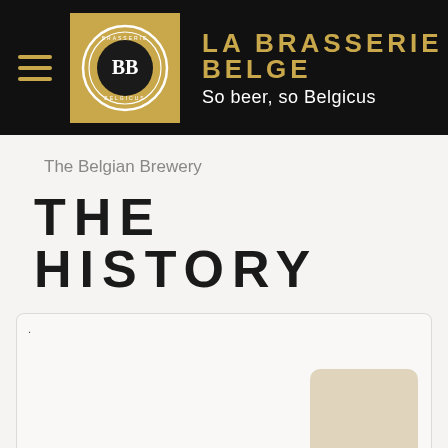LA BRASSERIE BELGE — So beer, so Belgicus
The Belgian Brewery
THE HISTORY
[Figure (other): A content box with a rounded rectangle placeholder thumbnail in the lower right corner]